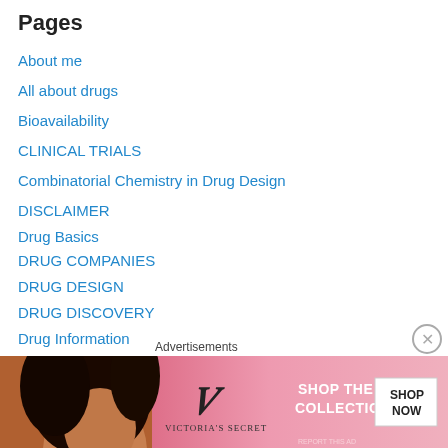Pages
About me
All about drugs
Bioavailability
CLINICAL TRIALS
Combinatorial Chemistry in Drug Design
DISCLAIMER
Drug Basics
DRUG COMPANIES
DRUG DESIGN
DRUG DISCOVERY
Drug Information
DRUG NEWS
DRUG PORTALS
Drug resistance
DRUG SITES
Advertisements
[Figure (photo): Victoria's Secret advertisement banner showing a model with curly hair and the text 'SHOP THE COLLECTION' with a 'SHOP NOW' button]